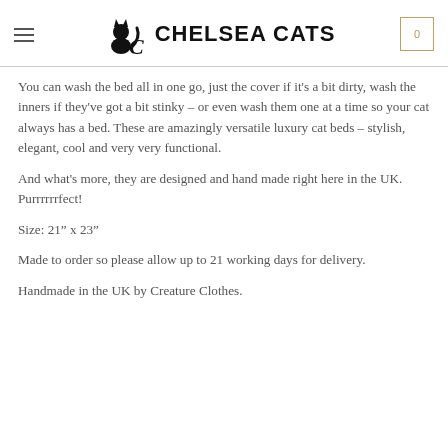Chelsea Cats
You can wash the bed all in one go, just the cover if it's a bit dirty, wash the inners if they've got a bit stinky – or even wash them one at a time so your cat always has a bed. These are amazingly versatile luxury cat beds – stylish, elegant, cool and very very functional.
And what's more, they are designed and hand made right here in the UK. Purrrrrrfect!
Size: 21" x 23"
Made to order so please allow up to 21 working days for delivery.
Handmade in the UK by Creature Clothes.